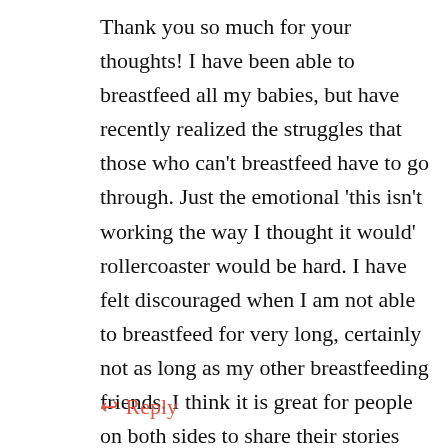Thank you so much for your thoughts! I have been able to breastfeed all my babies, but have recently realized the struggles that those who can't breastfeed have to go through. Just the emotional 'this isn't working the way I thought it would' rollercoaster would be hard. I have felt discouraged when I am not able to breastfeed for very long, certainly not as long as my other breastfeeding friends. I think it is great for people on both sides to share their stories and experiences so more people can gain insight and greater understanding as to what is actually going on.
↩ Reply